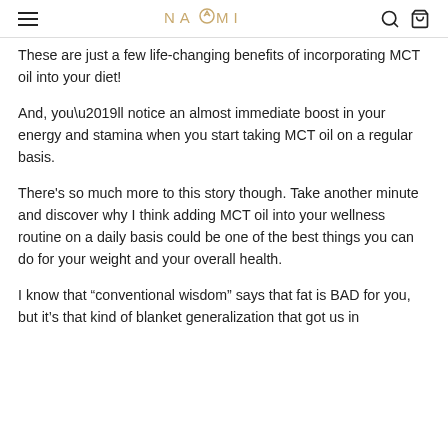NAOMI
These are just a few life-changing benefits of incorporating MCT oil into your diet!
And, you’ll notice an almost immediate boost in your energy and stamina when you start taking MCT oil on a regular basis.
There’s so much more to this story though. Take another minute and discover why I think adding MCT oil into your wellness routine on a daily basis could be one of the best things you can do for your weight and your overall health.
I know that “conventional wisdom” says that fat is BAD for you, but it’s that kind of blanket generalization that got us in